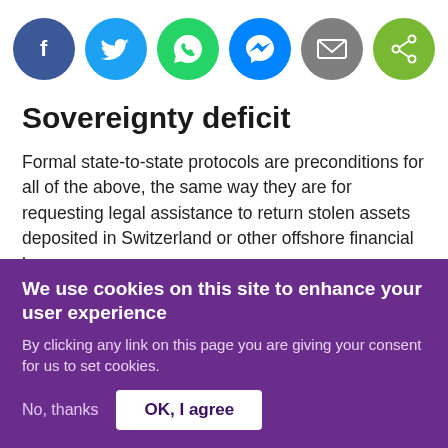[Figure (infographic): Six social sharing icon buttons in circles: Facebook (dark blue), Twitter (light blue), WhatsApp (green), Messenger (blue), Email (grey), Share (green)]
Sovereignty deficit
Formal state-to-state protocols are preconditions for all of the above, the same way they are for requesting legal assistance to return stolen assets deposited in Switzerland or other offshore financial havens.
We use cookies on this site to enhance your user experience
By clicking any link on this page you are giving your consent for us to set cookies.
No, thanks   OK, I agree